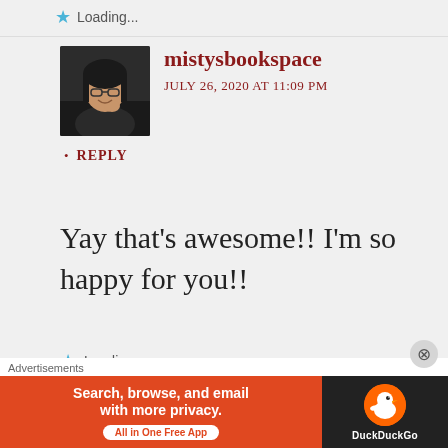Loading...
[Figure (photo): Profile photo of mistysbookspace - woman with glasses sitting in car]
mistysbookspace
JULY 26, 2020 AT 11:09 PM
• REPLY
Yay that's awesome!! I'm so happy for you!!
Loading...
[Figure (photo): Profile photo of valor87 - man with short hair]
valor87
[Figure (infographic): DuckDuckGo advertisement banner: Search, browse, and email with more privacy. All in One Free App]